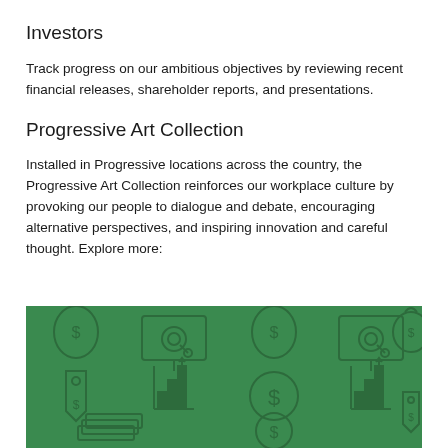Investors
Track progress on our ambitious objectives by reviewing recent financial releases, shareholder reports, and presentations.
Progressive Art Collection
Installed in Progressive locations across the country, the Progressive Art Collection reinforces our workplace culture by provoking our people to dialogue and debate, encouraging alternative perspectives, and inspiring innovation and careful thought. Explore more:
[Figure (illustration): Green background pattern with financial icons including money bags with dollar signs, bar charts, circular coin icons, price tags, and other finance-related symbols in a darker green outline style.]